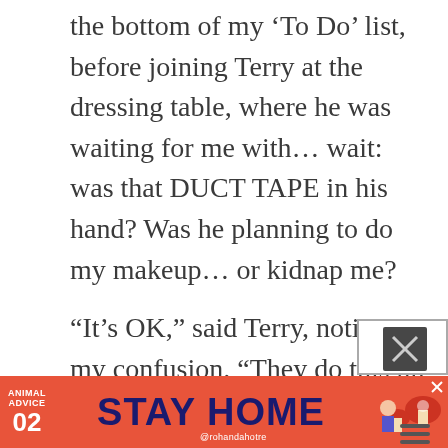the bottom of my 'To Do' list, before joining Terry at the dressing table, where he was waiting for me with... wait: was that DUCT TAPE in his hand? Was he planning to do my makeup... or kidnap me?
“It’s OK,” said Terry, noting my confusion. “They do this on You Tube all the time. It’ll be fine!”
[Figure (other): Advertisement banner at bottom: orange/red background, 'ANIMAL ADVICE 02' on left, large text 'STAY HOME' in dark blue, illustrated mushrooms and character on right, '@rohandahotre' handle, with overlay X close buttons]